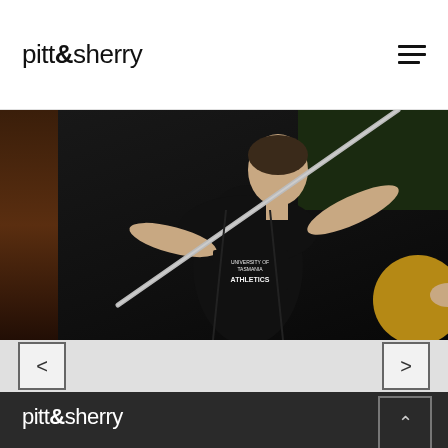pitt&sherry
[Figure (photo): Athlete throwing a javelin, wearing a dark University of Tasmania Athletics singlet, captured mid-throw against a dark background]
[Figure (other): Slider navigation arrows: left arrow and right arrow buttons on light grey background]
pitt&sherry